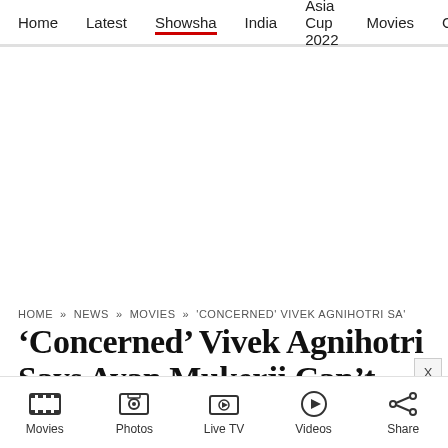Home   Latest   Showsha   India   Asia Cup 2022   Movies   C
HOME » NEWS » MOVIES » 'CONCERNED' VIVEK AGNIHOTRI SA'
'Concerned' Vivek Agnihotri Says Ayan Mukerji Can't Pronounce Brahmastra, Calls Ranveer Singh 'So-Called No 1 St…
Movies   Photos   Live TV   Videos   Share